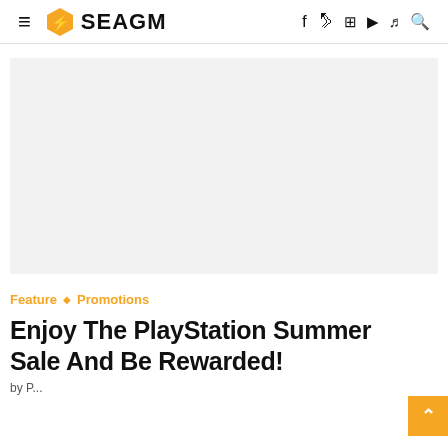≡ SEAGM (logo) f  ⊡  ▶  ♪  🔍
[Figure (other): Gray placeholder banner/advertisement image]
Feature ◇ Promotions
Enjoy The PlayStation Summer Sale And Be Rewarded!
by ...